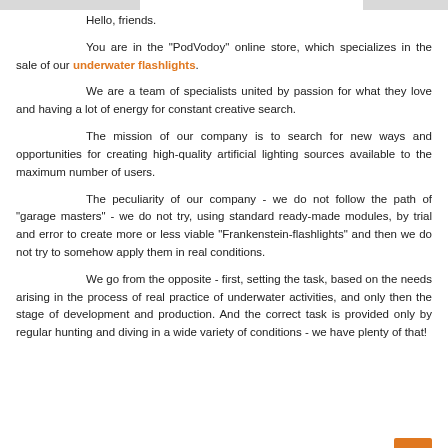Hello, friends.
You are in the "PodVodoy" online store, which specializes in the sale of our underwater flashlights.
We are a team of specialists united by passion for what they love and having a lot of energy for constant creative search.
The mission of our company is to search for new ways and opportunities for creating high-quality artificial lighting sources available to the maximum number of users.
The peculiarity of our company - we do not follow the path of "garage masters" - we do not try, using standard ready-made modules, by trial and error to create more or less viable "Frankenstein-flashlights" and then we do not try to somehow apply them in real conditions.
We go from the opposite - first, setting the task, based on the needs arising in the process of real practice of underwater activities, and only then the stage of development and production. And the correct task is provided only by regular hunting and diving in a wide variety of conditions - we have plenty of that!